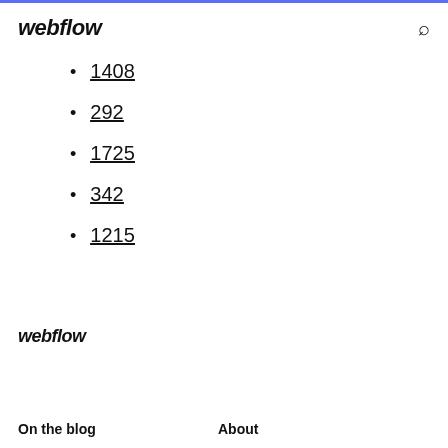webflow [search icon]
1408
292
1725
342
1215
webflow
On the blog   About